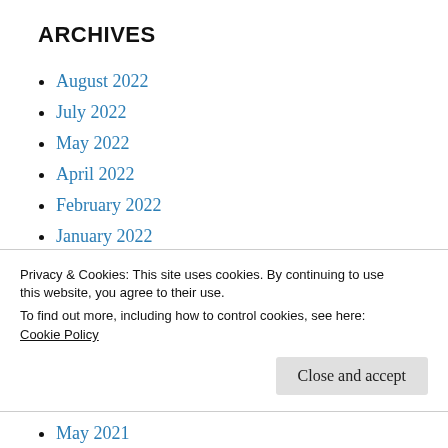ARCHIVES
August 2022
July 2022
May 2022
April 2022
February 2022
January 2022
December 2021
November 2021
Privacy & Cookies: This site uses cookies. By continuing to use this website, you agree to their use.
To find out more, including how to control cookies, see here:
Cookie Policy
Close and accept
May 2021